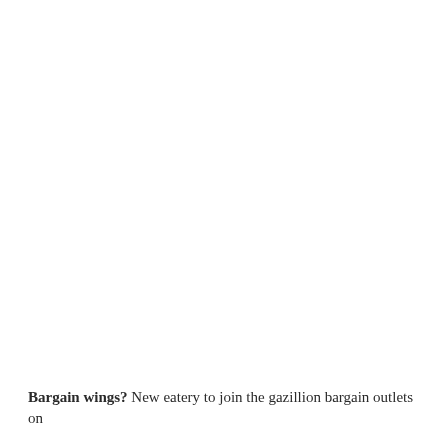Bargain wings? New eatery to join the gazillion bargain outlets on